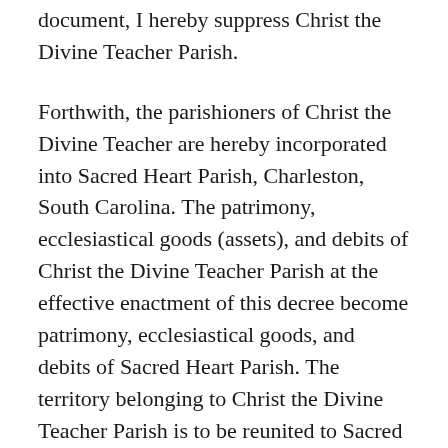document, I hereby suppress Christ the Divine Teacher Parish.
Forthwith, the parishioners of Christ the Divine Teacher are hereby incorporated into Sacred Heart Parish, Charleston, South Carolina. The patrimony, ecclesiastical goods (assets), and debits of Christ the Divine Teacher Parish at the effective enactment of this decree become patrimony, ecclesiastical goods, and debits of Sacred Heart Parish. The territory belonging to Christ the Divine Teacher Parish is to be reunited to Sacred Heart Parish.
The revised territorial boundaries of Sacred Heart Parish are as follows: